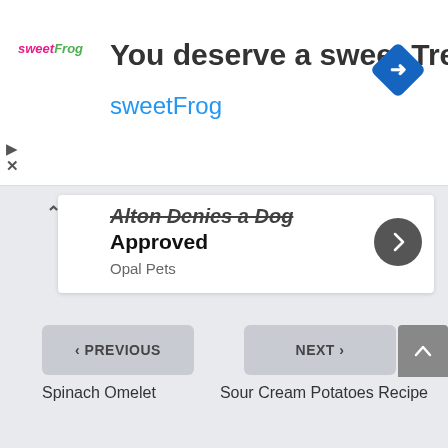[Figure (screenshot): Ad banner for sweetFrog frozen yogurt with logo, tagline 'You deserve a sweet Treat', brand name 'sweetFrog', and a blue diamond navigation arrow icon]
Alton Denies a Dog Approved
Opal Pets
‹ PREVIOUS
Spinach Omelet
NEXT ›
Sour Cream Potatoes Recipe